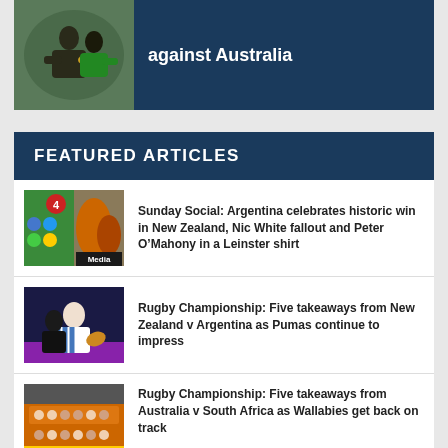[Figure (photo): Rugby player with ball being tackled, against Australia]
against Australia
FEATURED ARTICLES
[Figure (photo): Social media collage with rugby images and Media label]
Sunday Social: Argentina celebrates historic win in New Zealand, Nic White fallout and Peter O’Mahony in a Leinster shirt
[Figure (photo): Rugby Championship Argentina player running with ball]
Rugby Championship: Five takeaways from New Zealand v Argentina as Pumas continue to impress
[Figure (photo): Australia rugby team group photo with Mandela banner]
Rugby Championship: Five takeaways from Australia v South Africa as Wallabies get back on track